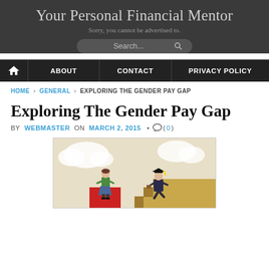Your Personal Financial Mentor
Sorry, you cannot be advertised to.
Search...
HOME  ABOUT  CONTACT  PRIVACY POLICY
HOME › GENERAL › EXPLORING THE GENDER PAY GAP
Exploring The Gender Pay Gap
BY WEBMASTER ON MARCH 2, 2015 • ( 0 )
[Figure (illustration): Illustration showing a woman in green top and blue skirt standing on a red platform/block on the left, and a man in graduation attire climbing ascending tan/gold stair steps on the right, representing the gender pay gap concept. Cloudy sky background.]